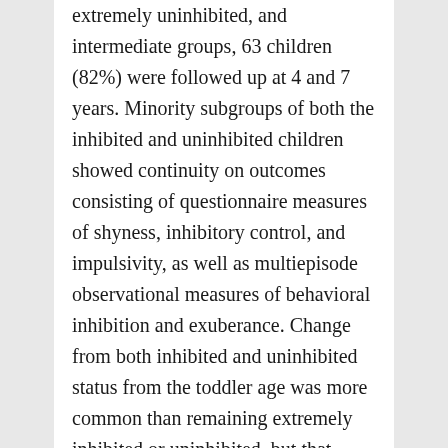extremely uninhibited, and intermediate groups, 63 children (82%) were followed up at 4 and 7 years. Minority subgroups of both the inhibited and uninhibited children showed continuity on outcomes consisting of questionnaire measures of shyness, inhibitory control, and impulsivity, as well as multiepisode observational measures of behavioral inhibition and exuberance. Change from both inhibited and uninhibited status from the toddler age was more common than remaining extremely inhibited or uninhibited, but that change was largely constrained to the middle of the distribution.